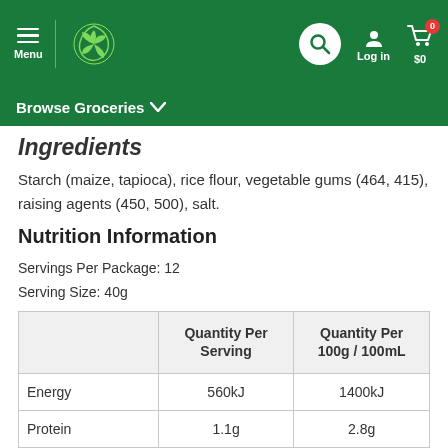Menu | Woolworths | Search | Log in | $0
Browse Groceries
Ingredients
Starch (maize, tapioca), rice flour, vegetable gums (464, 415), raising agents (450, 500), salt.
Nutrition Information
Servings Per Package: 12
Serving Size: 40g
|  | Quantity Per Serving | Quantity Per 100g / 100mL |
| --- | --- | --- |
| Energy | 560kJ | 1400kJ |
| Protein | 1.1g | 2.8g |